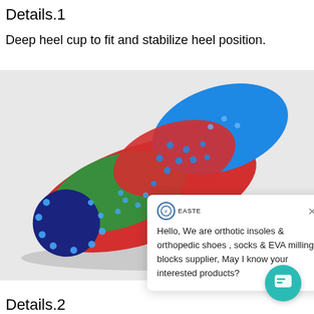Details.1
Deep heel cup to fit and stabilize heel position.
[Figure (photo): Orthotic insole with red fabric with blue dots, green arch support, blue forefoot pad, and navy blue heel cup, shown at an angle on a light grey background.]
Hello, We are orthotic insoles & orthopedic shoes , socks & EVA milling blocks supplier, May I know your interested products?
Details.2